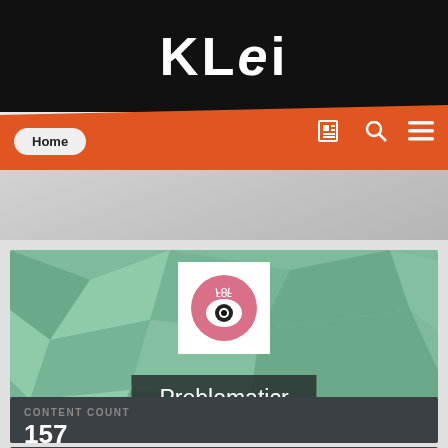KLEi
[Figure (screenshot): Klei Entertainment website navigation bar with Home button and icons on orange background]
[Figure (screenshot): User profile page for Problematicr showing avatar with pink eye LOL icon on green geometric polygon background]
CONTENT COUNT
157